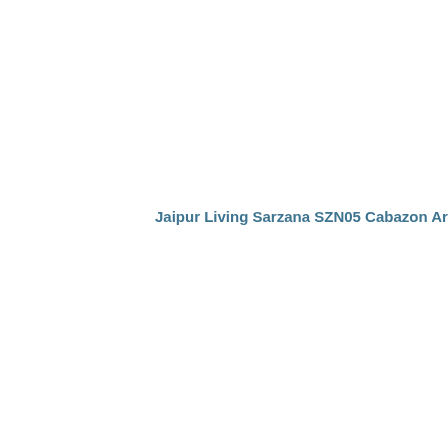Jaipur Living Sarzana SZN05 Cabazon Area Rug